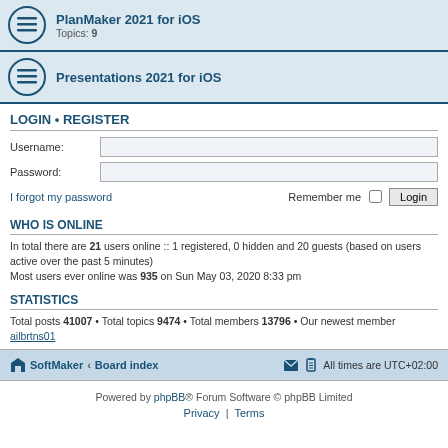PlanMaker 2021 for iOS
Topics: 9
Presentations 2021 for iOS
LOGIN • REGISTER
Username:
Password:
I forgot my password
Remember me
WHO IS ONLINE
In total there are 21 users online :: 1 registered, 0 hidden and 20 guests (based on users active over the past 5 minutes)
Most users ever online was 935 on Sun May 03, 2020 8:33 pm
STATISTICS
Total posts 41007 • Total topics 9474 • Total members 13796 • Our newest member ailbrtns01
SoftMaker · Board index   All times are UTC+02:00
Powered by phpBB® Forum Software © phpBB Limited
Privacy | Terms